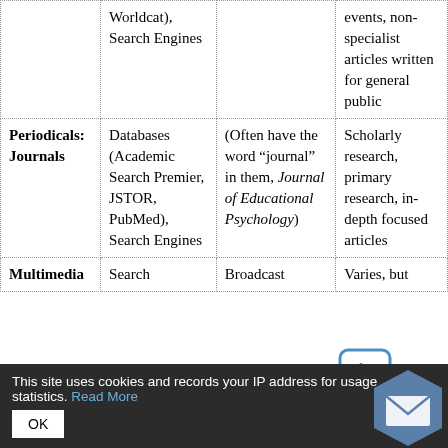| Type | Where to Find | Examples | Characteristics |
| --- | --- | --- | --- |
|  | Worldcat), Search Engines |  | events, non-specialist articles written for general public |
| Periodicals: Journals | Databases (Academic Search Premier, JSTOR, PubMed), Search Engines | (Often have the word “journal” in them, Journal of Educational Psychology) | Scholarly research, primary research, in-depth focused articles |
| Multimedia | Search | Broadcast | Varies, but |
This site uses cookies and records your IP address for usage statistics. Read More OK